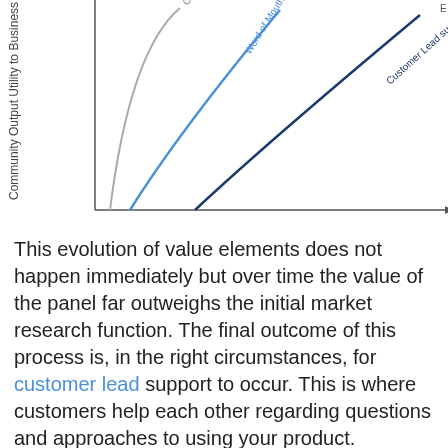[Figure (continuous-plot): Partial view of a chart showing Community Output Utility to Business on the y-axis. Three curves are visible: a gray curve labeled 'Co-C[o...]', a blue curve labeled 'Word of Mouth Marketing', and a dark blue curve labeled 'Customer Lead support'. The curves show logarithmic/diminishing returns growth over an x-axis (time or community size). Only the upper-left portion of the chart is visible; axis labels are cut off.]
This evolution of value elements does not happen immediately but over time the value of the panel far outweighs the initial market research function.  The final outcome of this process is, in the right circumstances, for customer lead support to occur.  This is where customers help each other regarding questions and approaches to using your product.
This customer lead support has been occurring